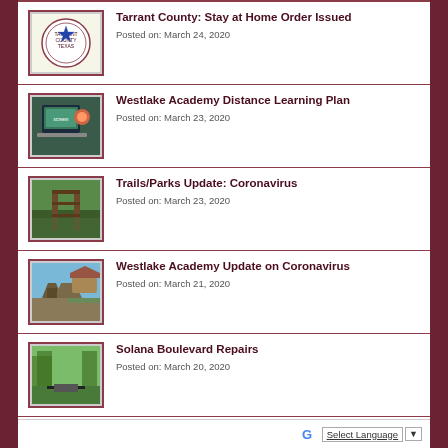Tarrant County: Stay at Home Order Issued
Posted on: March 24, 2020
Westlake Academy Distance Learning Plan
Posted on: March 23, 2020
Trails/Parks Update: Coronavirus
Posted on: March 23, 2020
Westlake Academy Update on Coronavirus
Posted on: March 21, 2020
Solana Boulevard Repairs
Posted on: March 20, 2020
Denton County Issu…